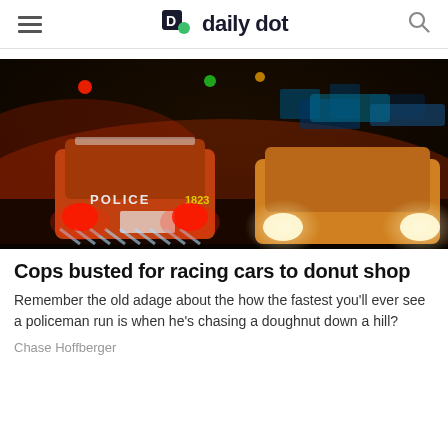daily dot
[Figure (photo): Night scene showing police cars and other vehicles at an intersection, with red and orange lighting, a police car in the foreground with 'POLICE' and number '1823' visible on the rear.]
Cops busted for racing cars to donut shop
Remember the old adage about the how the fastest you'll ever see a policeman run is when he's chasing a doughnut down a hill?
Chase Hoffberger